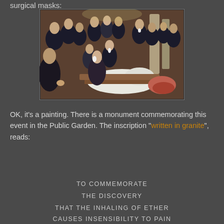surgical masks:
[Figure (illustration): A historical painting depicting an early surgical or medical demonstration. Many men in black formal attire with bow ties surround a patient on a table, observing a procedure. The scene appears to be set in an amphitheater or operating room, likely depicting the first public demonstration of ether anesthesia.]
OK, it's a painting. There is a monument commemorating this event in the Public Garden. The inscription "written in granite", reads:
TO COMMEMORATE
THE DISCOVERY
THAT THE INHALING OF ETHER
CAUSES INSENSIBILITY TO PAIN